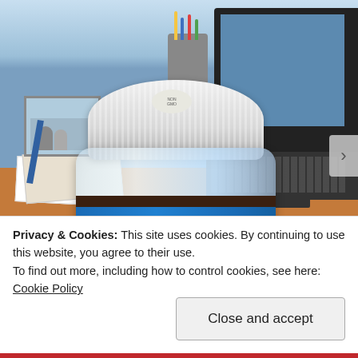[Figure (photo): Photo of a jar of Barney Butter Almond Butter on an office desk. The jar has a white ribbed lid, a blue label reading 'All Natural · All Good BARNEY BUTTER ALMOND' with an almond icon. Background shows a laptop, keyboard, papers, pen holder, and a small framed photo.]
Privacy & Cookies: This site uses cookies. By continuing to use this website, you agree to their use.
To find out more, including how to control cookies, see here: Cookie Policy
Close and accept